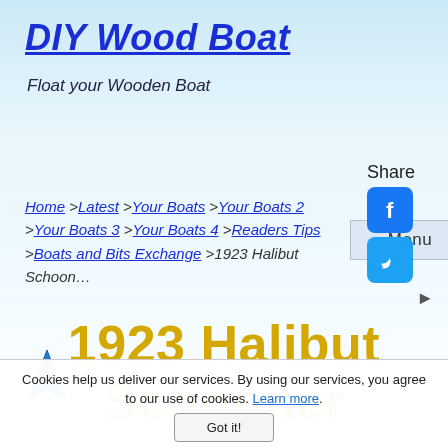DIY Wood Boat
Float your Wooden Boat
Menu
Share
Home >Latest >Your Boats >Your Boats 2 >Your Boats 3 >Your Boats 4 >Readers Tips >Boats and Bits Exchange >1923 Halibut Schooner
1923 Halibut Schooner
Cookies help us deliver our services. By using our services, you agree to our use of cookies. Learn more.
Got it!